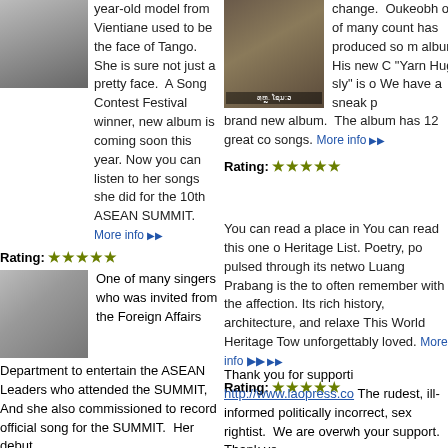year-old model from Vientiane used to be the face of Tango. She is sure not just a pretty face. A Song Contest Festival winner, new album is coming soon this year. Now you can listen to her songs she did for the 10th ASEAN SUMMIT. More info
Rating: ★★★★★
[Figure (photo): Photo of a young woman]
One of many singers who was invited from the Foreign Affairs
[Figure (photo): Photo related to Lao music artist with Lao script text]
change. Oukeobh one of many count has produced so m albums. His new C "Yarn Hug sly" is o We have a sneak p brand new album. The album has 12 great co songs. More info
Rating: ★★★★★
You can read a place in You can read this one o Heritage List. Poetry, po pulsed through its netwo Luang Prabang is the to often remember with the affection. Its rich history, architecture, and relaxe This World Heritage Tow unforgettably loved. More info
Rating: ★★★★★
Department to entertain the ASEAN Leaders who attended the SUMMIT, And she also commissioned to record official song for the SUMMIT. Her debut
Thank you for supporti http://www.laopress.co The rudest, ill-informed politically incorrect, sex rightist. We are overwh your support. Thank yo